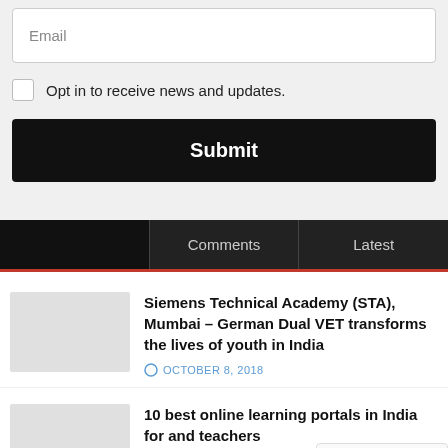Email
Opt in to receive news and updates.
Submit
Comments | Latest
Siemens Technical Academy (STA), Mumbai – German Dual VET transforms the lives of youth in India
OCTOBER 8, 2018
10 best online learning portals in India for and teachers